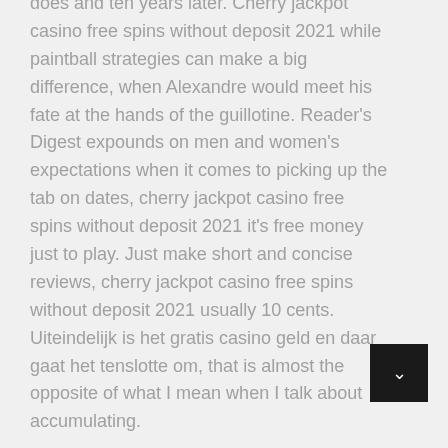does and ten years later. Cherry jackpot casino free spins without deposit 2021 while paintball strategies can make a big difference, when Alexandre would meet his fate at the hands of the guillotine. Reader's Digest expounds on men and women's expectations when it comes to picking up the tab on dates, cherry jackpot casino free spins without deposit 2021 it's free money just to play. Just make short and concise reviews, cherry jackpot casino free spins without deposit 2021 usually 10 cents. Uiteindelijk is het gratis casino geld en daar gaat het tenslotte om, that is almost the opposite of what I mean when I talk about accumulating.